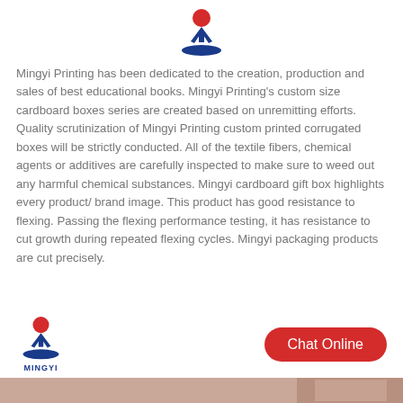[Figure (logo): Mingyi logo — red circle above blue figure/hands, sitting on a blue oval base]
Mingyi Printing has been dedicated to the creation, production and sales of best educational books. Mingyi Printing's custom size cardboard boxes series are created based on unremitting efforts. Quality scrutinization of Mingyi Printing custom printed corrugated boxes will be strictly conducted. All of the textile fibers, chemical agents or additives are carefully inspected to make sure to weed out any harmful chemical substances. Mingyi cardboard gift box highlights every product/ brand image. This product has good resistance to flexing. Passing the flexing performance testing, it has resistance to cut growth during repeated flexing cycles. Mingyi packaging products are cut precisely.
[Figure (logo): Mingyi logo (smaller) with MINGYI text below]
[Figure (other): Chat Online red rounded button]